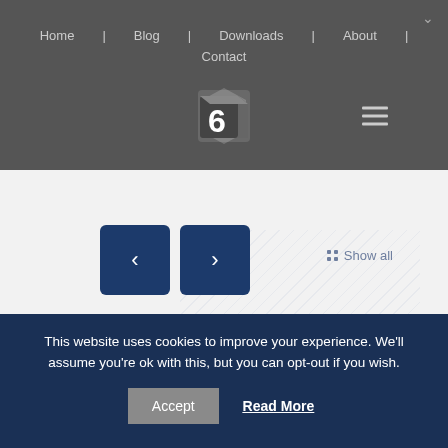Home | Blog | Downloads | About | Contact
[Figure (logo): Number 6 logo icon — white hexagonal shape with number 6 on dark background]
[Figure (infographic): Navigation carousel with left and right arrow buttons and Show all link with diagonal stripe background]
CCXML vs VXI* VoiceXML's
0
This website uses cookies to improve your experience. We'll assume you're ok with this, but you can opt-out if you wish.
Accept
Read More